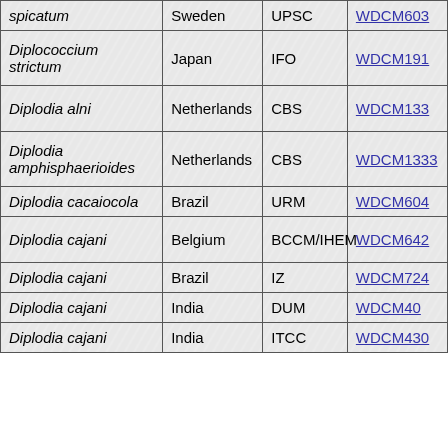| spicatum | Sweden | UPSC | WDCM603 |
| Diplococcium strictum | Japan | IFO | WDCM191 |
| Diplodia alni | Netherlands | CBS | WDCM133 |
| Diplodia amphisphaerioides | Netherlands | CBS | WDCM1333 |
| Diplodia cacaiocola | Brazil | URM | WDCM604 |
| Diplodia cajani | Belgium | BCCM/IHEM | WDCM642 |
| Diplodia cajani | Brazil | IZ | WDCM724 |
| Diplodia cajani | India | DUM | WDCM40 |
| Diplodia cajani | India | ITCC | WDCM430 |